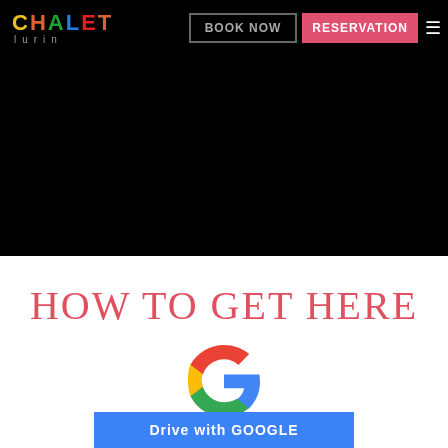[Figure (logo): Chalet Lurin logo with colorful letters on black navigation bar]
[Figure (screenshot): Navigation bar with BOOK NOW button and pink RESERVATION button and hamburger menu icon]
[Figure (photo): Black section below navigation bar]
HOW TO GET HERE
[Figure (logo): Google G logo in blue color]
Drive with GOOGLE